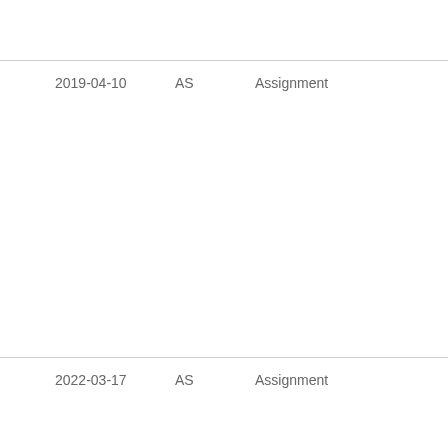| Date | Code | Type |
| --- | --- | --- |
| 2019-04-10 | AS | Assignment |
| 2022-03-17 | AS | Assignment |